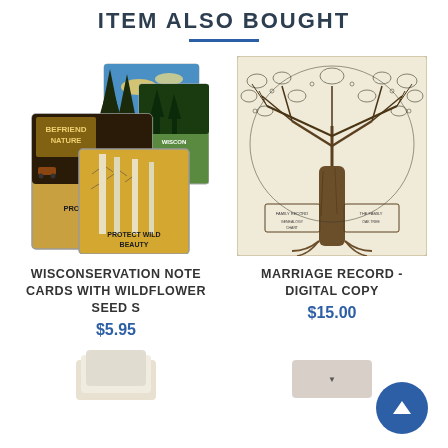ITEM ALSO BOUGHT
[Figure (photo): Stack of nature-themed note cards with Wisconsin conservation imagery including trees, wildlife, and text 'BEFRIEND NATURE', 'WISCONSIN'S', 'PROTECT WILD BEAUTY', 'WISCONSIN BEAUTIFUL']
[Figure (illustration): Black and white line drawing of a large oak tree with family tree / genealogy chart structure, on cream/beige background]
WISCONSERVATION NOTE CARDS WITH WILDFLOWER SEED S
$5.95
MARRIAGE RECORD - DIGITAL COPY
$15.00
[Figure (photo): Partial view of another product at bottom left, appears to show a white/beige item]
[Figure (screenshot): Partial view of another item at bottom right, appears to show a button or card]